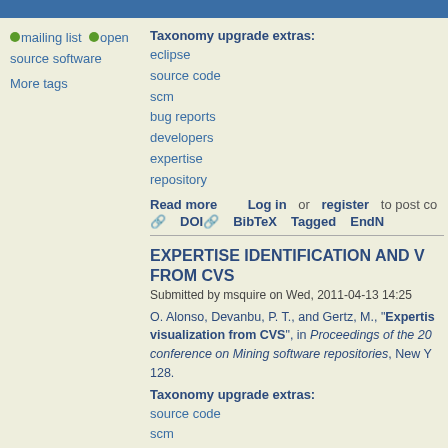mailing list  open source software
More tags
Taxonomy upgrade extras: eclipse source code scm bug reports developers expertise repository
Read more  Log in  or  register  to post co
DOI  BibTeX  Tagged  EndN
EXPERTISE IDENTIFICATION AND V FROM CVS
Submitted by msquire on Wed, 2011-04-13 14:25
O. Alonso, Devanbu, P. T., and Gertz, M., "Expertis visualization from CVS", in Proceedings of the 20 conference on Mining software repositories, New Y 128.
Taxonomy upgrade extras:
source code
scm